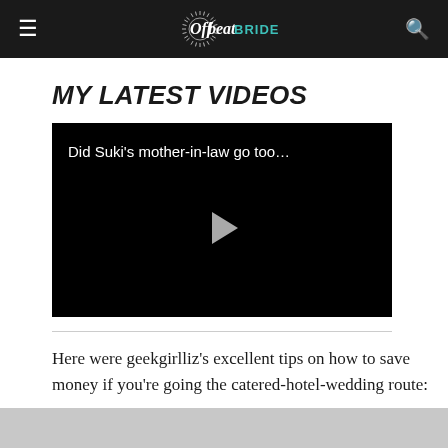Offbeat Bride
MY LATEST VIDEOS
[Figure (screenshot): Video thumbnail showing dark background with text 'Did Suki's mother-in-law go too...' and a play button in the center]
Here were geekgirlliz's excellent tips on how to save money if you're going the catered-hotel-wedding route: